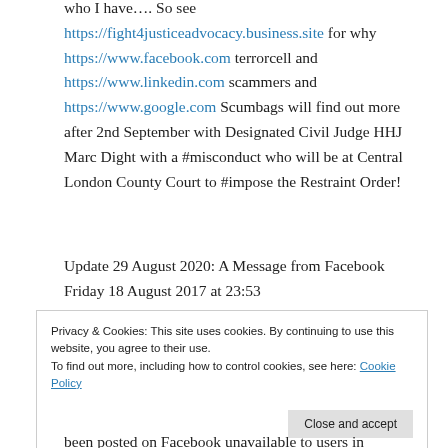who I have…. So see https://fight4justiceadvocacy.business.site for why https://www.facebook.com terrorcell and https://www.linkedin.com scammers and https://www.google.com Scumbags will find out more after 2nd September with Designated Civil Judge HHJ Marc Dight with a #misconduct who will be at Central London County Court to #impose the Restraint Order!
Update 29 August 2020: A Message from Facebook Friday 18 August 2017 at 23:53
Privacy & Cookies: This site uses cookies. By continuing to use this website, you agree to their use. To find out more, including how to control cookies, see here: Cookie Policy Close and accept
been posted on Facebook unavailable to users in